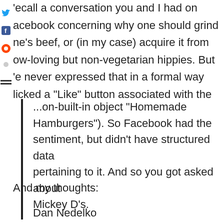recall a conversation you and I had on acebook concerning why one should grind ne's beef, or (in my case) acquire it from ow-loving but non-vegetarian hippies. But e never expressed that in a formal way licked a "Like" button associated with the ...on-built-in object "Homemade Hamburgers"). So Facebook had the sentiment, but didn't have structured data pertaining to it. And so you got asked about Mickey D's.
And my thoughts:
Dan Nedelko